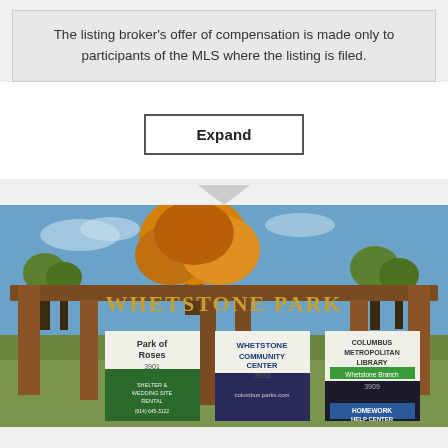The listing broker's offer of compensation is made only to participants of the MLS where the listing is filed.
Expand
[Figure (photo): Photo of Whetstone Park entrance sign with wooden pergola structure and autumn trees. Signs for Park of Roses (3901), Whetstone Community Center (3923), and Columbus Metropolitan Library Whetstone Branch (3909) with Homework Help Center visible.]